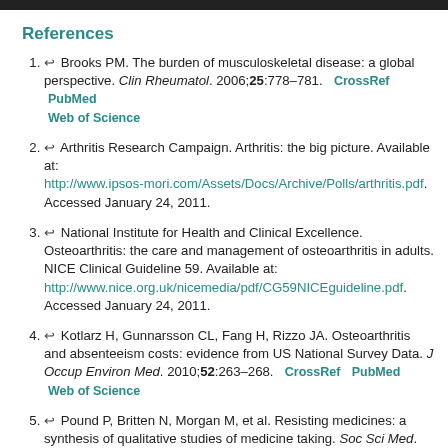References
Brooks PM. The burden of musculoskeletal disease: a global perspective. Clin Rheumatol. 2006;25:778–781. CrossRef PubMed Web of Science
Arthritis Research Campaign. Arthritis: the big picture. Available at: http://www.ipsos-mori.com/Assets/Docs/Archive/Polls/arthritis.pdf. Accessed January 24, 2011.
National Institute for Health and Clinical Excellence. Osteoarthritis: the care and management of osteoarthritis in adults. NICE Clinical Guideline 59. Available at: http://www.nice.org.uk/nicemedia/pdf/CG59NICEguideline.pdf. Accessed January 24, 2011.
Kotlarz H, Gunnarsson CL, Fang H, Rizzo JA. Osteoarthritis and absenteeism costs: evidence from US National Survey Data. J Occup Environ Med. 2010;52:263–268. CrossRef PubMed Web of Science
Pound P, Britten N, Morgan M, et al. Resisting medicines: a synthesis of qualitative studies of medicine taking. Soc Sci Med. 2005;61:133–155.